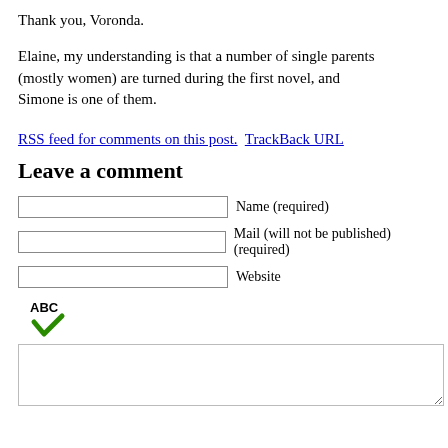Thank you, Voronda.
Elaine, my understanding is that a number of single parents (mostly women) are turned during the first novel, and Simone is one of them.
RSS feed for comments on this post.  TrackBack URL
Leave a comment
Name (required)
Mail (will not be published) (required)
Website
[Figure (other): Spell-check icon: ABC text above a green checkmark arrow]
[Comment text area]